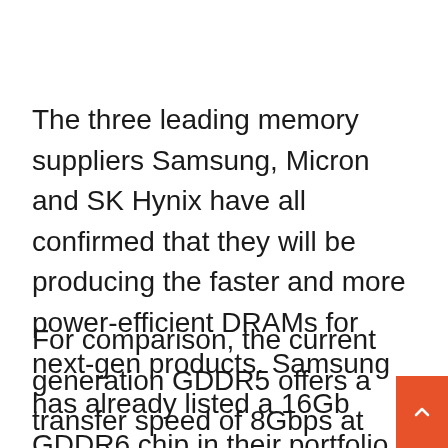The three leading memory suppliers Samsung, Micron and SK Hynix have all confirmed that they will be producing the faster and more power-efficient DRAMs for next-gen products. Samsung has already listed a 16Gb GDDR6 chip in their portfolio. The new DRAM can deliver 16Gbps transfer rate with 64GB/s bandwidth, while operating at just 1.35 volts.
For comparison, the current generation GDDR5 offers a transfer speed of 8Gbps at relatively higher power consumption (1.5V). GDDR5 can reach up 9 Gbps as we've seen in case of the Nvidia GTX